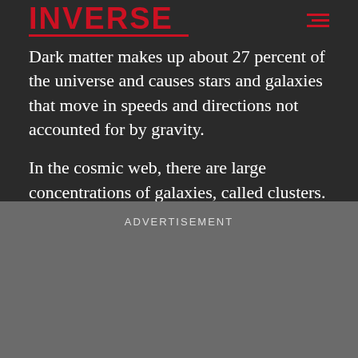INVERSE
Dark matter makes up about 27 percent of the universe and causes stars and galaxies that move in speeds and directions not accounted for by gravity.
In the cosmic web, there are large concentrations of galaxies, called clusters. But the action of gravity on dark matter also impacts the cosmic web’s formation. Over 14 billion years, gravity has caused dark matter halos to cluster together.
ADVERTISEMENT